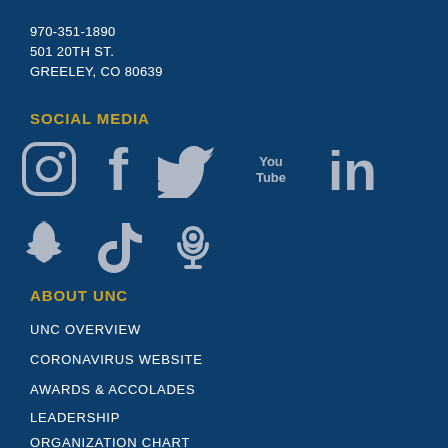970-351-1890
501 20TH ST.
GREELEY, CO 80639
SOCIAL MEDIA
[Figure (infographic): Social media icons: Instagram, Facebook, Twitter, YouTube, LinkedIn, Snapchat, TikTok, Podcast]
ABOUT UNC
UNC OVERVIEW
CORONAVIRUS WEBSITE
AWARDS & ACCOLADES
LEADERSHIP
ORGANIZATION CHART